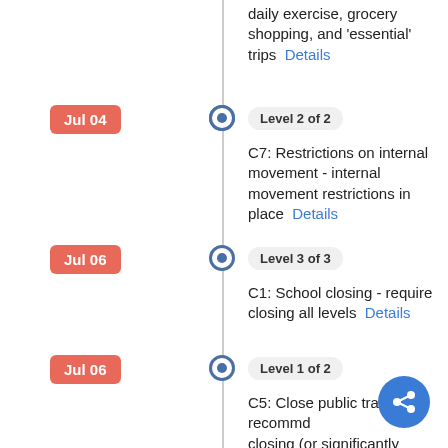daily exercise, grocery shopping, and 'essential' trips  Details
Jul 04 — Level 2 of 2 — C7: Restrictions on internal movement - internal movement restrictions in place  Details
Jul 06 — Level 3 of 3 — C1: School closing - require closing all levels  Details
Jul 06 — Level 1 of 2 — C5: Close public transport - recommend closing (or significantly reduce volume/route/means of transport available)  Details